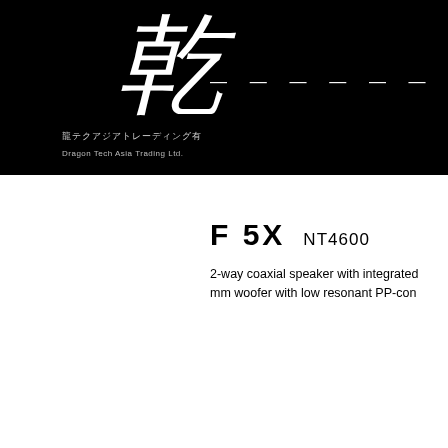[Figure (logo): Large Chinese calligraphy character in white on black background, with dashes to the right]
龍テクアジアトレーディング有
Dragon Tech Asia Trading Ltd.
F 5X   NT4600
2-way coaxial speaker with integrated mm woofer with low resonant PP-con